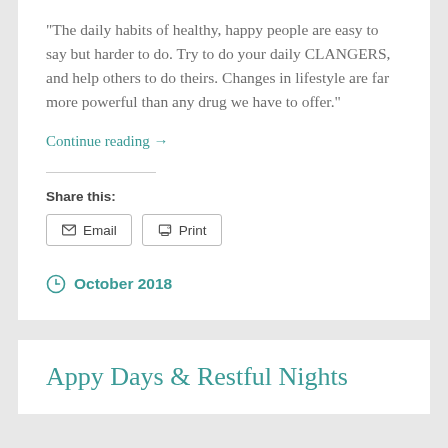“The daily habits of healthy, happy people are easy to say but harder to do. Try to do your daily CLANGERS, and help others to do theirs. Changes in lifestyle are far more powerful than any drug we have to offer.”
Continue reading →
Share this:
[Figure (other): Email and Print share buttons]
October 2018
Appy Days & Restful Nights